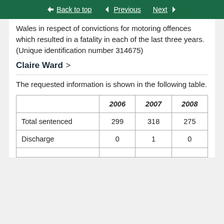Back to top   Previous   Next
Wales in respect of convictions for motoring offences which resulted in a fatality in each of the last three years. (Unique identification number 314675)
Claire Ward >
The requested information is shown in the following table.
|  | 2006 | 2007 | 2008 |
| --- | --- | --- | --- |
| Total sentenced | 299 | 318 | 275 |
| Discharge | 0 | 1 | 0 |